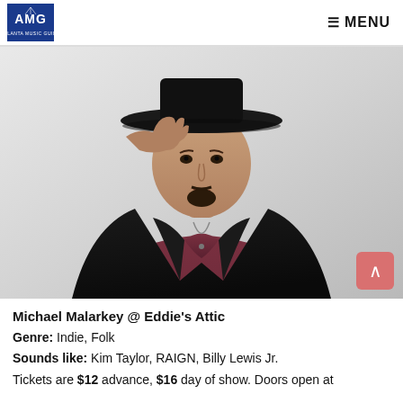AMG | MENU
[Figure (photo): Portrait photo of Michael Malarkey wearing a black leather jacket and wide-brim hat, hand raised to hat brim, looking at camera with a slight smirk. Background is light/white.]
Michael Malarkey @ Eddie's Attic
Genre: Indie, Folk
Sounds like: Kim Taylor, RAIGN, Billy Lewis Jr.
Tickets are $12 advance, $16 day of show. Doors open at